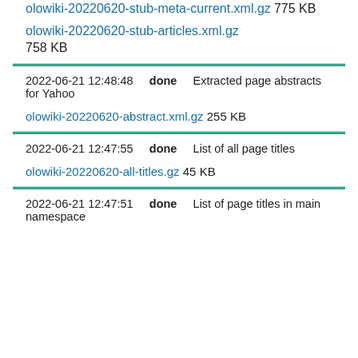olowiki-20220620-stub-meta-current.xml.gz 775 KB
olowiki-20220620-stub-articles.xml.gz 758 KB
2022-06-21 12:48:48   done   Extracted page abstracts for Yahoo
olowiki-20220620-abstract.xml.gz 255 KB
2022-06-21 12:47:55   done   List of all page titles
olowiki-20220620-all-titles.gz 45 KB
2022-06-21 12:47:51   done   List of page titles in main namespace